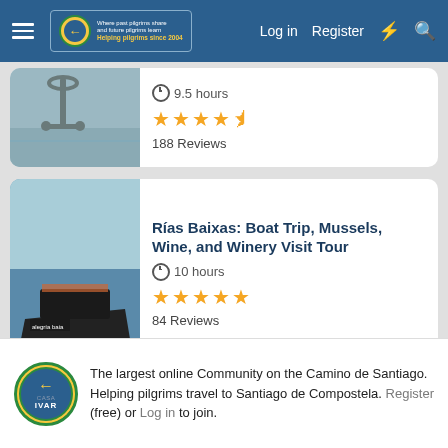Log in  Register
9.5 hours
188 Reviews
Rías Baixas: Boat Trip, Mussels, Wine, and Winery Visit Tour
10 hours
84 Reviews
Santiago de Compostela: Finisterre, Muxia & Costa da Morte
The largest online Community on the Camino de Santiago. Helping pilgrims travel to Santiago de Compostela. Register (free) or Log in to join.